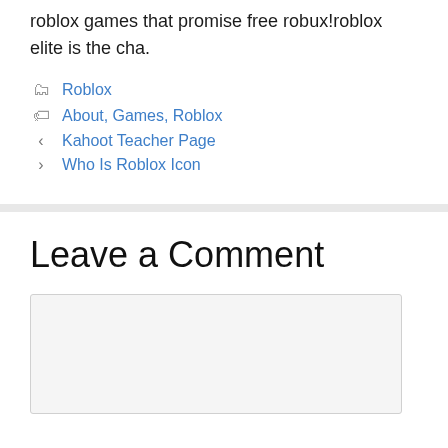roblox games that promise free robux!roblox elite is the cha.
Category: Roblox
Tags: About, Games, Roblox
< Kahoot Teacher Page
> Who Is Roblox Icon
Leave a Comment